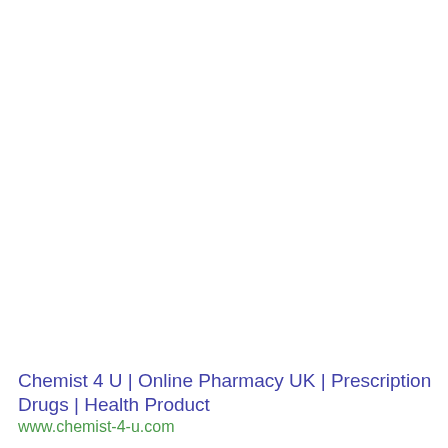Chemist 4 U | Online Pharmacy UK | Prescription Drugs | Health Product
www.chemist-4-u.com